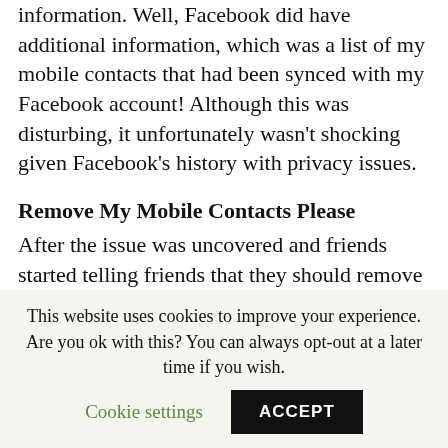information. Well, Facebook did have additional information, which was a list of my mobile contacts that had been synced with my Facebook account! Although this was disturbing, it unfortunately wasn't shocking given Facebook's history with privacy issues.
Remove My Mobile Contacts Please
After the issue was uncovered and friends started telling friends that they should remove their mobile contacts
This website uses cookies to improve your experience. Are you ok with this? You can always opt-out at a later time if you wish.